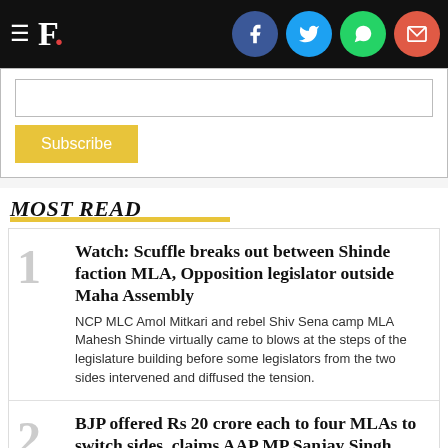F. [social icons: Facebook, Twitter, WhatsApp, Email]
[Figure (infographic): Subscribe email input box with yellow Subscribe button]
MOST READ
1. Watch: Scuffle breaks out between Shinde faction MLA, Opposition legislator outside Maha Assembly — NCP MLC Amol Mitkari and rebel Shiv Sena camp MLA Mahesh Shinde virtually came to blows at the steps of the legislature building before some legislators from the two sides intervened and diffused the tension.
2. BJP offered Rs 20 crore each to four MLAs to switch sides, claims AAP MP Sanjay Singh — The AAP claimed on Wednesday that the BJP has approached four of its legislators in Delhi, asking them